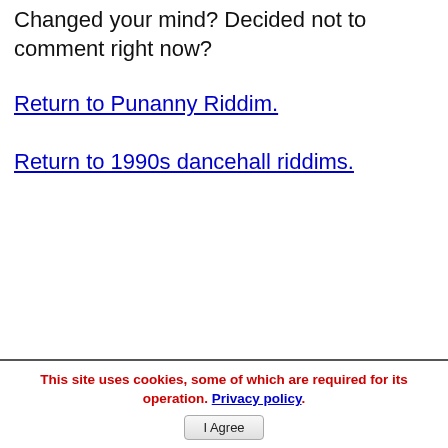Changed your mind? Decided not to comment right now?
Return to Punanny Riddim.
Return to 1990s dancehall riddims.
This site uses cookies, some of which are required for its operation. Privacy policy. I Agree